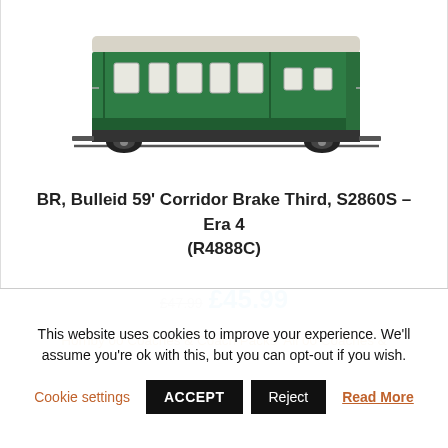[Figure (photo): Model train: BR Bulleid 59' Corridor Brake Third in green livery with white window frames, on black undercarriage with wheels]
BR, Bulleid 59' Corridor Brake Third, S2860S – Era 4 (R4888C)
£47.99 £45.99
Hornby 00 Coaches & Coach Packs  All 00 Coaches &
This website uses cookies to improve your experience. We'll assume you're ok with this, but you can opt-out if you wish.
Cookie settings  ACCEPT  Reject  Read More